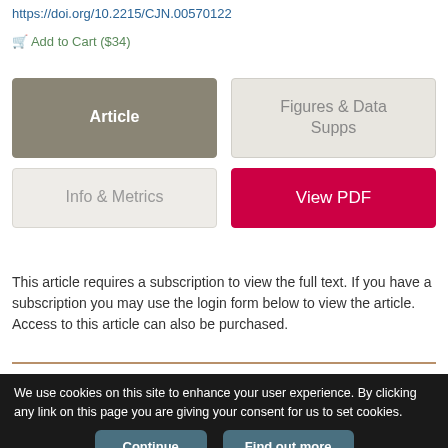https://doi.org/10.2215/CJN.00570122
Add to Cart ($34)
[Figure (screenshot): Four navigation buttons: Article (dark grey, selected), Figures & Data Supps (light grey), Info & Metrics (light grey), View PDF (red)]
This article requires a subscription to view the full text. If you have a subscription you may use the login form below to view the article. Access to this article can also be purchased.
We use cookies on this site to enhance your user experience. By clicking any link on this page you are giving your consent for us to set cookies.
Continue
Find out more